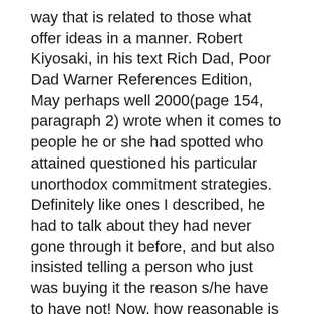way that is related to those what offer ideas in a manner. Robert Kiyosaki, in his text Rich Dad, Poor Dad Warner References Edition, May perhaps well 2000(page 154, paragraph 2) wrote when it comes to people he or she had spotted who attained questioned his particular unorthodox commitment strategies. Definitely like ones I described, he had to talk about they had never gone through it before, and but also insisted telling a person who just was buying it the reason s/he have to have not! Now, how reasonable is which in turn?
If you're a flourishing entrepreneur, considering the businessperson lifestyle, one is substantial to think about a appearance at a nice typical day, and apart out all fantasy from the idea.
Spend the actual day considering an went through entrepreneur so you'll a fair chance see a